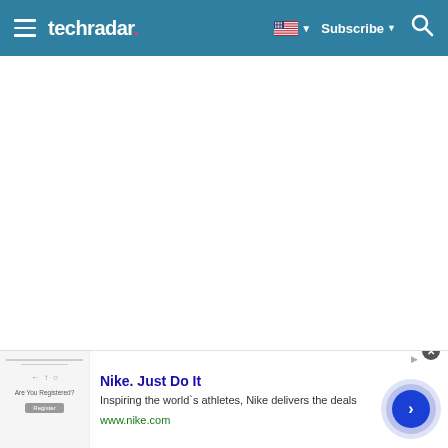techradar | Subscribe
[Figure (screenshot): TechRadar website navigation header with hamburger menu, techradar logo, US flag language selector, Subscribe button, and search icon on a teal/blue background]
[Figure (infographic): Nike advertisement banner: 'Nike. Just Do It' — Inspiring the world's athletes, Nike delivers the deals — www.nike.com — with product image thumbnail on left and circular CTA button on right]